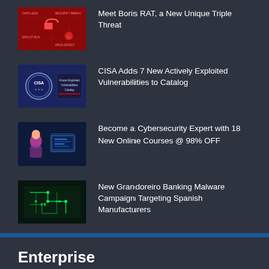Meet Boris RAT, a New Unique Triple Threat
CISA Adds 7 New Actively Exploited Vulnerabilities to Catalog
Become a Cybersecurity Expert with 18 New Online Courses @ 98% OFF
New Grandoreiro Banking Malware Campaign Targeting Spanish Manufacturers
Enterprise
Does India have what it takes to